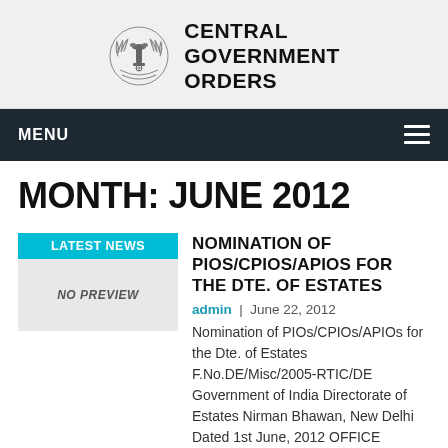[Figure (logo): India government emblem (Ashoka Pillar with laurel wreath) alongside site title text CENTRAL GOVERNMENT ORDERS]
MENU ≡
MONTH: JUNE 2012
[Figure (illustration): LATEST NEWS badge in cyan with NO PREVIEW placeholder image below]
NOMINATION OF PIOS/CPIOS/APIOS FOR THE DTE. OF ESTATES
admin | June 22, 2012
Nomination of PIOs/CPIOs/APIOs for the Dte. of Estates F.No.DE/Misc/2005-RTIC/DE Government of India Directorate of Estates Nirman Bhawan, New Delhi Dated 1st June, 2012 OFFICE ORDER Sub: Nomination of
Read More